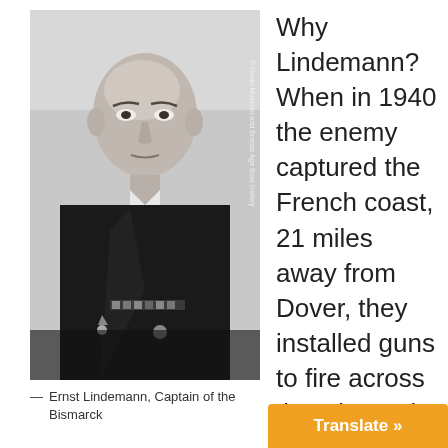[Figure (photo): Black and white portrait photograph of Ernst Lindemann in naval uniform, with medals visible on chest. Watermark text reads: © Dover Museum and Bronze Age Boat Gallery]
— Ernst Lindemann, Captain of the Bismarck
Why Lindemann? When in 1940 the enemy captured the French coast, 21 miles away from Dover, they installed guns to fire across the Channel. One ba[ttery was named]